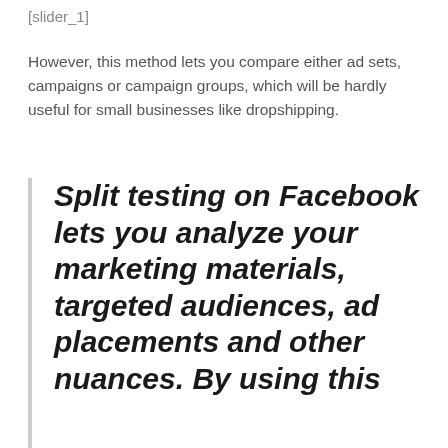[slider_1]
However, this method lets you compare either ad sets, campaigns or campaign groups, which will be hardly useful for small businesses like dropshipping.
Split testing on Facebook lets you analyze your marketing materials, targeted audiences, ad placements and other nuances. By using this